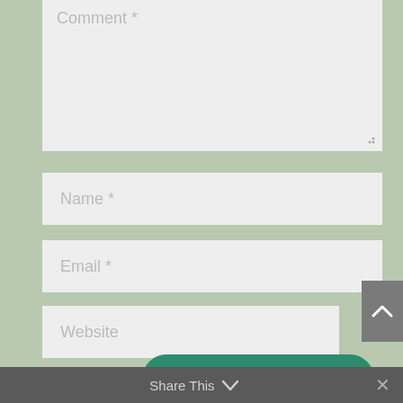[Figure (screenshot): Comment text area input field with placeholder text 'Comment *' and resize handle in bottom-right corner]
[Figure (screenshot): Name input field with placeholder text 'Name *']
[Figure (screenshot): Email input field with placeholder text 'Email *']
[Figure (screenshot): Website input field with placeholder text 'Website']
[Figure (screenshot): Scroll-to-top button (gray, with upward caret arrow icon) on the right side]
SUBMIT COMMENT
Share This  ∨  ✕